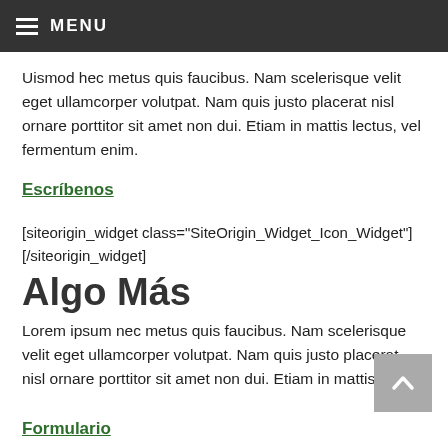MENU
Uismod hec metus quis faucibus. Nam scelerisque velit eget ullamcorper volutpat. Nam quis justo placerat nisl ornare porttitor sit amet non dui. Etiam in mattis lectus, vel fermentum enim.
Escríbenos
[siteorigin_widget class="SiteOrigin_Widget_Icon_Widget"] [/siteorigin_widget]
Algo Más
Lorem ipsum nec metus quis faucibus. Nam scelerisque velit eget ullamcorper volutpat. Nam quis justo placerat nisl ornare porttitor sit amet non dui. Etiam in mattis lectus.
Formulario